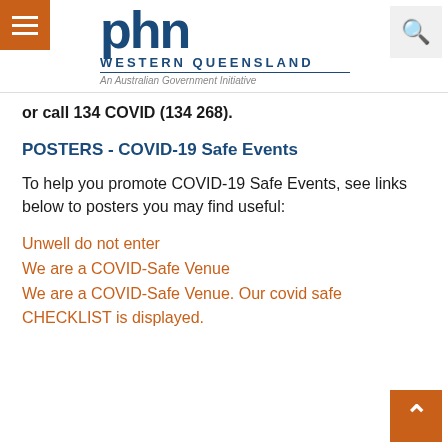[Figure (logo): PHN Western Queensland logo with hamburger menu and search icon in navigation bar]
or call 134 COVID (134 268).
POSTERS - COVID-19 Safe Events
To help you promote COVID-19 Safe Events, see links below to posters you may find useful:
Unwell do not enter
We are a COVID-Safe Venue
We are a COVID-Safe Venue. Our covid safe CHECKLIST is displayed.